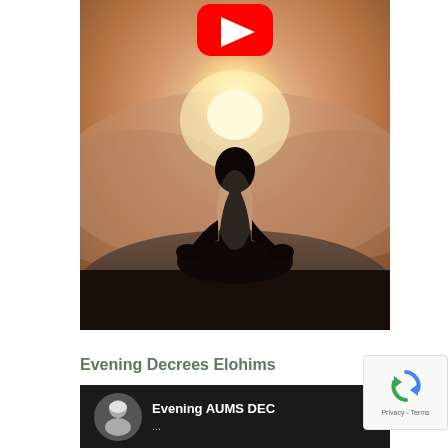[Figure (illustration): A person in a meditation lotus pose silhouetted against a bright glowing sunset/sunrise backdrop on a mountain or hill. A red YouTube play button icon is overlaid at the top center of the image.]
Evening Decrees Elohims
[Figure (screenshot): A YouTube video thumbnail showing 'Evening AUMS DEC...' with a small circular avatar of an older woman on the left and a three-dot menu icon on the right, all on a dark/black background.]